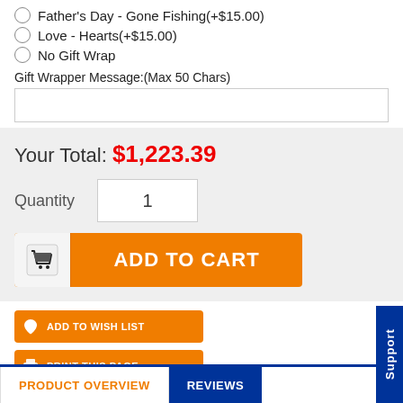Father's Day - Gone Fishing(+$15.00)
Love - Hearts(+$15.00)
No Gift Wrap
Gift Wrapper Message:(Max 50 Chars)
Your Total: $1,223.39
Quantity  1
[Figure (other): ADD TO CART button with shopping cart icon]
[Figure (other): ADD TO WISH LIST button with heart icon]
[Figure (other): PRINT THIS PAGE button with printer icon]
[Figure (other): REFER A FRIEND button with people icon]
PRODUCT OVERVIEW
REVIEWS
Support